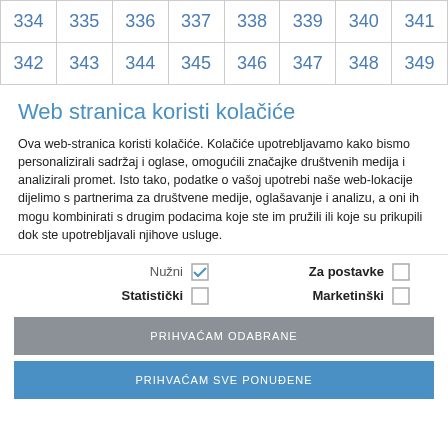| 334 | 335 | 336 | 337 | 338 | 339 | 340 | 341 |
| 342 | 343 | 344 | 345 | 346 | 347 | 348 | 349 |
Web stranica koristi kolačiće
Ova web-stranica koristi kolačiće. Kolačiće upotrebljavamo kako bismo personalizirali sadržaj i oglase, omogućili značajke društvenih medija i analizirali promet. Isto tako, podatke o vašoj upotrebi naše web-lokacije dijelimo s partnerima za društvene medije, oglašavanje i analizu, a oni ih mogu kombinirati s drugim podacima koje ste im pružili ili koje su prikupili dok ste upotrebljavali njihove usluge.
Nužni [checked] | Za postavke [unchecked]
Statistički [unchecked] | Marketinški [unchecked]
PRIHVAĆAM ODABRANE
PRIHVAĆAM SVE PONUĐENE